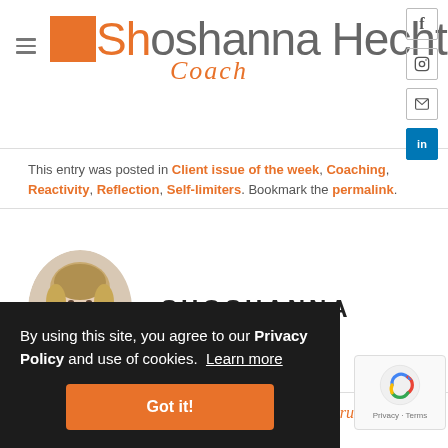[Figure (logo): Shoshanna Hecht Coach logo with orange box and italic script Coach text]
This entry was posted in Client issue of the week, Coaching, Reactivity, Reflection, Self-limiters. Bookmark the permalink.
[Figure (photo): Headshot photo of Shoshanna, a woman with blonde hair wearing a dark top]
SHOSHANNA
Uncharted Territory
Structure Saves!
By using this site, you agree to our Privacy Policy and use of cookies. Learn more
Got it!
oublished.
Privacy · Terms